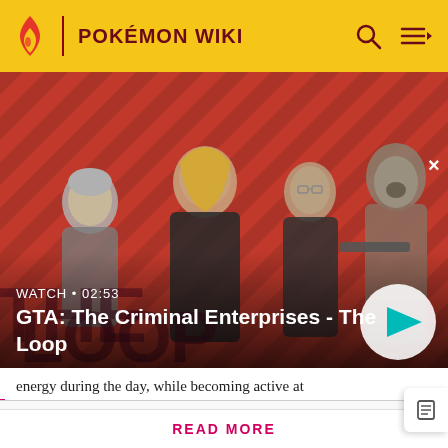POKÉMON WIKI
[Figure (screenshot): GTA: The Criminal Enterprises - The Loop video thumbnail showing four characters on a pink/red striped background. Text overlay reads WATCH • 02:53 and GTA: The Criminal Enterprises - The Loop with a play button.]
energy during the day, while becoming active at
Don't like the ads? Then create an account! Users with
READ MORE